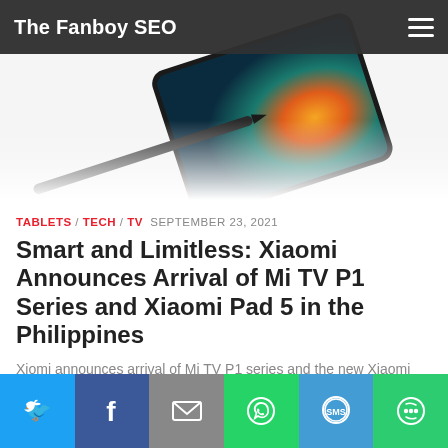The Fanboy SEO
[Figure (photo): Xiaomi Pad 5 tablet with stylus pen on white background, showing colorful abstract wallpaper on screen]
TABLETS / TECH / TV   SEPTEMBER 23, 2021
Smart and Limitless: Xiaomi Announces Arrival of Mi TV P1 Series and Xiaomi Pad 5 in the Philippines
Xiomi announces arrival of Mi TV P1 series and the new Xiaomi Pad 5 in the Philippines priced at PHP 10,990 and PHP 17,990 respectively
Share this:
[Figure (infographic): Social share buttons row: Twitter (blue), Facebook (dark blue), Email (gray), WhatsApp (green), SMS (blue), More (green)]